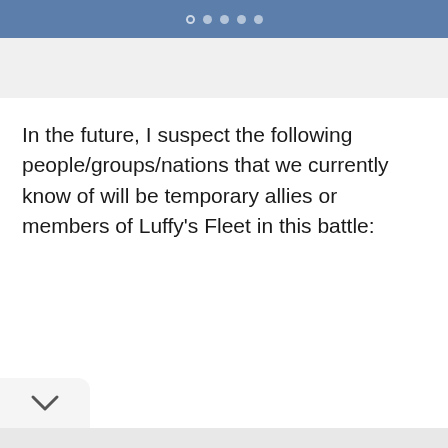In the future, I suspect the following people/groups/nations that we currently know of will be temporary allies or members of Luffy’s Fleet in this battle: